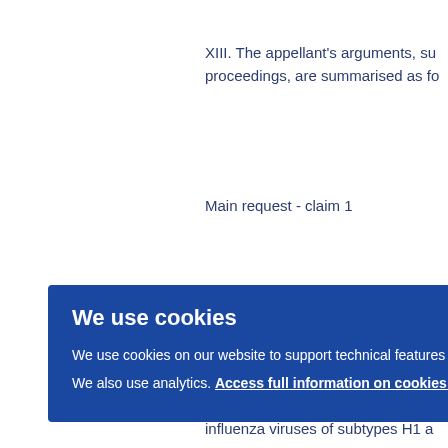XIII. The appellant's arguments, su proceedings, are summarised as fo
Main request - claim 1
Claimed invention - claim construct
The claimed antibody had to bind t influenza viruses of subtypes H1 a
le 83
g B c was i scrib
teria
We use cookies
We use cookies on our website to support technical features that enhance your user experience.
We also use analytics. Access full information on cookies that we use and how to manage them
OK